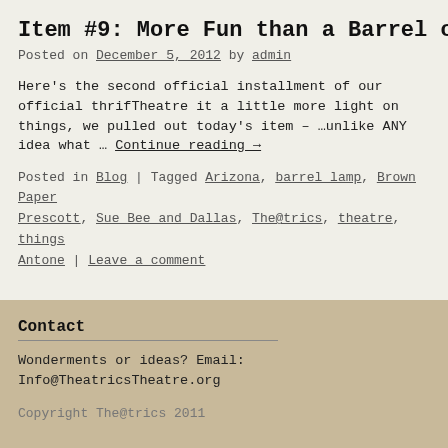Item #9: More Fun than a Barrel o
Posted on December 5, 2012 by admin
Here's the second official installment of our official thrifTheatre it a little more light on things, we pulled out today's item – …unlike ANY idea what … Continue reading →
Posted in Blog | Tagged Arizona, barrel lamp, Brown Paper, Prescott, Sue Bee and Dallas, The@trics, theatre, things Antone | Leave a comment
Contact
Wonderments or ideas? Email:
Info@TheatricsTheatre.org
Copyright The@trics 2011